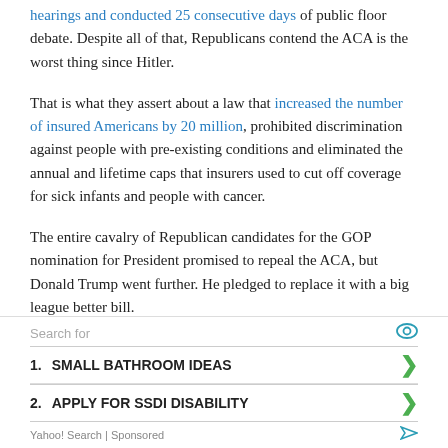hearings and conducted 25 consecutive days of public floor debate. Despite all of that, Republicans contend the ACA is the worst thing since Hitler.
That is what they assert about a law that increased the number of insured Americans by 20 million, prohibited discrimination against people with pre-existing conditions and eliminated the annual and lifetime caps that insurers used to cut off coverage for sick infants and people with cancer.
The entire cavalry of Republican candidates for the GOP nomination for President promised to repeal the ACA, but Donald Trump went further. He pledged to replace it with a big league better bill.
Search for
1. SMALL BATHROOM IDEAS
2. APPLY FOR SSDI DISABILITY
Yahoo! Search | Sponsored